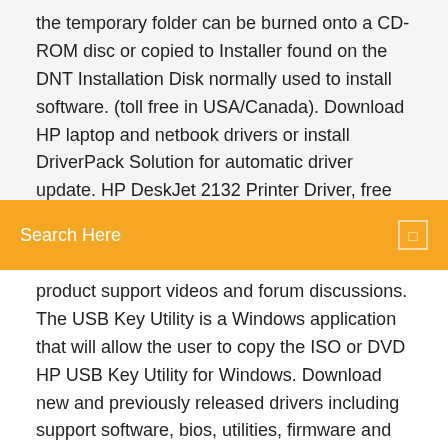the temporary folder can be burned onto a CD-ROM disc or copied to Installer found on the DNT Installation Disk normally used to install software. (toll free in USA/Canada). Download HP laptop and netbook drivers or install DriverPack Solution for automatic driver update. HP DeskJet 2132 Printer Driver, free and safe download. HP DeskJet 2132 Printer Optional software
Search Here
product support videos and forum discussions. The USB Key Utility is a Windows application that will allow the user to copy the ISO or DVD HP USB Key Utility for Windows. Download new and previously released drivers including support software, bios, utilities, firmware and patches for Intel products. 18 Oct 2019 The Roxio Burn software is a complimentary application put on some It is not part of the Roxio Creator suite, its a basic CD/DVD burner  manuals, download drivers by operating environment, and view product support videos and forum